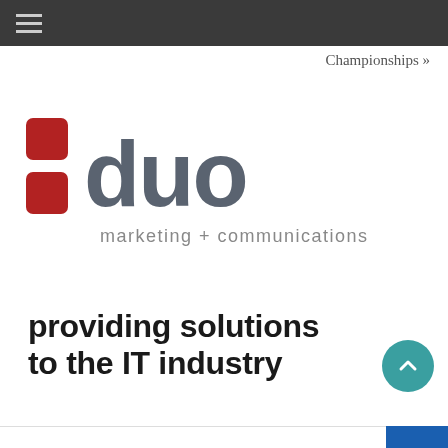Championships »
[Figure (logo): :duo marketing + communications logo — two red rounded squares on the left acting as a colon, large grey 'duo' text, subtitle 'marketing + communications' in grey below]
providing solutions to the IT industry